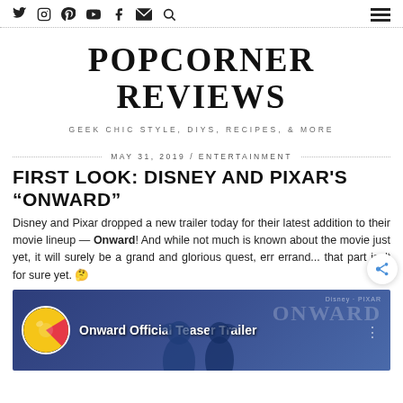Social icons: Twitter, Instagram, Pinterest, YouTube, Facebook, Email, Search | Hamburger menu
POPCORNER REVIEWS
GEEK CHIC STYLE, DIYS, RECIPES, & MORE
MAY 31, 2019 / ENTERTAINMENT
FIRST LOOK: DISNEY AND PIXAR'S “ONWARD”
Disney and Pixar dropped a new trailer today for their latest addition to their movie lineup — Onward! And while not much is known about the movie just yet, it will surely be a grand and glorious quest, err errand... that part isn't for sure yet. 🤔
[Figure (screenshot): YouTube video thumbnail for 'Onward Official Teaser Trailer' showing the Pixar ball logo, two animated characters, and Disney/Pixar Onward watermark on a blue background]